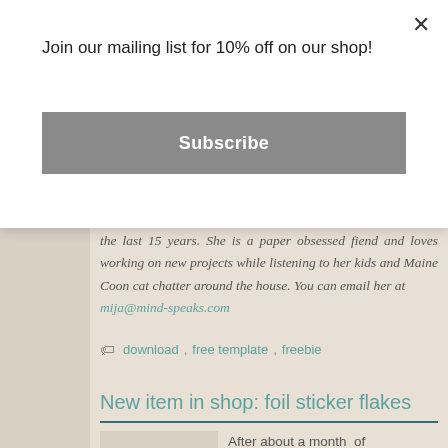Join our mailing list for 10% off on our shop!
Subscribe
the last 15 years. She is a paper obsessed fiend and loves working on new projects while listening to her kids and Maine Coon cat chatter around the house. You can email her at mija@mind-speaks.com
download , free template , freebie
New item in shop: foil sticker flakes
After about a month of